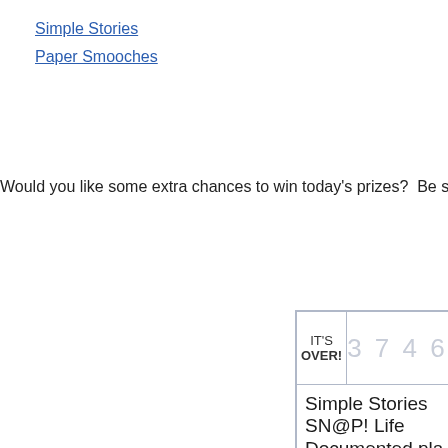Simple Stories
Paper Smooches
Would you like some extra chances to win today's prizes?  Be sure to enter
[Figure (screenshot): A widget/countdown box showing 'IT'S OVER!' with number 3746 and a partial 0, and below it text reading 'Simple Stories SN@P! Life Documented pla... system']